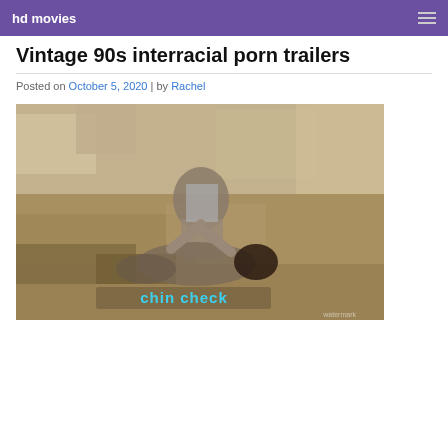hd movies
Vintage 90s interracial porn trailers
Posted on October 5, 2020 | by Rachel
[Figure (photo): A still from a vintage film showing two people on rocky outdoor terrain, with blue subtitle text reading 'chin check' at the bottom.]